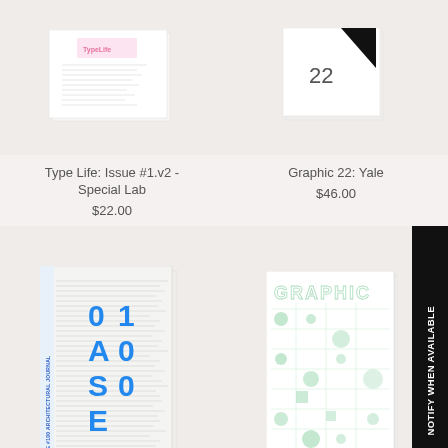[Figure (photo): Book cover: Type Life Issue #1.v2 - Special Lab, shown at slight angle on beige background]
Type Life: Issue #1.v2 -
Special Lab
$22.00
[Figure (photo): Book cover: Graphic 22 Yale, shown at slight angle on beige background, with '22' text and black design]
Graphic 22: Yale
$46.00
[Figure (photo): Book cover: OASE #100, shown with blue letters 0 1 A 0 S 0 E on grey/white background]
OASE #100: The
[Figure (photo): Book cover: Graphic 37 Introduction, shown with green GRAPHIC text on white background, with green dot/circle elements; black NOTIFY WHEN AVAILABLE banner on right edge]
Graphic 37: Introduction